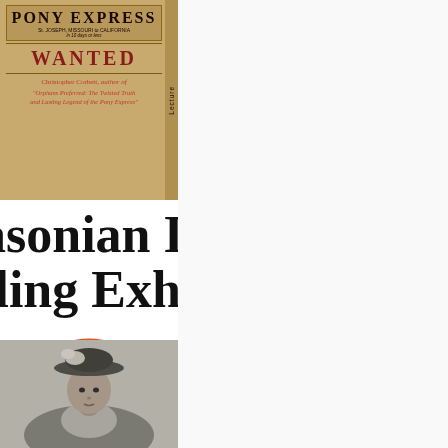[Figure (photo): Pony Express book cover - vintage style with 'WANTED' text, featuring Christopher Corbett, author of 'Orphans Preferred: The Twisted Truth and Lasting Legend of the Pony Express'. Has a vertical 'Lecture' tab on the right side.]
asonian Ins
ling Exhibi
[Figure (logo): Park City logo - circular orange shape with blue horizontal band reading 'ARK CIT' (Park City), with '1884' below in the orange lower portion.]
[Figure (photo): Black and white portrait photograph of a woman wearing a hat with a feather or floral decoration, dressed in Victorian/Edwardian era clothing.]